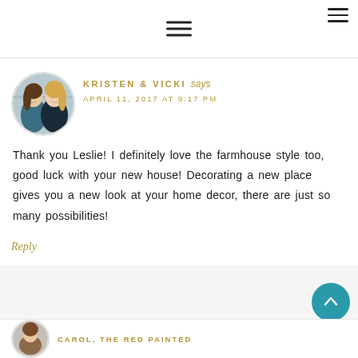Navigation menu icon (hamburger) top-right and center
[Figure (photo): Circular avatar photo of two women (Kristen and Vicki), one brunette and one blonde, smiling]
KRISTEN & VICKI says
APRIL 11, 2017 AT 9:17 PM
Thank you Leslie! I definitely love the farmhouse style too, good luck with your new house! Decorating a new place gives you a new look at your home decor, there are just so many possibilities!
Reply
[Figure (photo): Circular avatar photo of the next commenter Carol The Red Painted]
CAROL, THE RED PAINTED